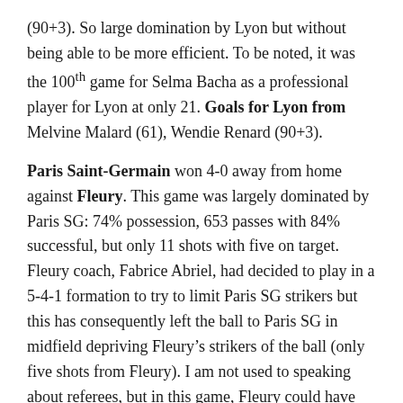(90+3). So large domination by Lyon but without being able to be more efficient. To be noted, it was the 100th game for Selma Bacha as a professional player for Lyon at only 21. Goals for Lyon from Melvine Malard (61), Wendie Renard (90+3).
Paris Saint-Germain won 4-0 away from home against Fleury. This game was largely dominated by Paris SG: 74% possession, 653 passes with 84% successful, but only 11 shots with five on target. Fleury coach, Fabrice Abriel, had decided to play in a 5-4-1 formation to try to limit Paris SG strikers but this has consequently left the ball to Paris SG in midfield depriving Fleury’s strikers of the ball (only five shots from Fleury). I am not used to speaking about referees, but in this game, Fleury could have had a penalty and we must note that with about the same number of fouls (13 for Fleury against 11 for Paris SG) Fleury had two yellow cards. However, Paris